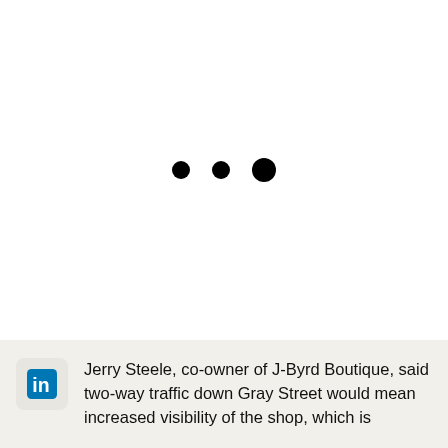[Figure (other): Three black dots of slightly varying sizes arranged horizontally, resembling a loading indicator or ellipsis decoration]
Jerry Steele, co-owner of J-Byrd Boutique, said two-way traffic down Gray Street would mean increased visibility of the shop, which is